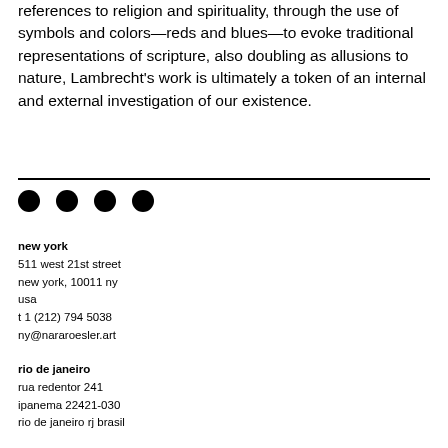references to religion and spirituality, through the use of symbols and colors—reds and blues—to evoke traditional representations of scripture, also doubling as allusions to nature, Lambrecht's work is ultimately a token of an internal and external investigation of our existence.
[Figure (other): Four black filled circles in a row, decorative divider element]
new york
511 west 21st street
new york, 10011 ny
usa
t 1 (212) 794 5038
ny@nararoesler.art
rio de janeiro
rua redentor 241
ipanema 22421-030
rio de janeiro rj brasil